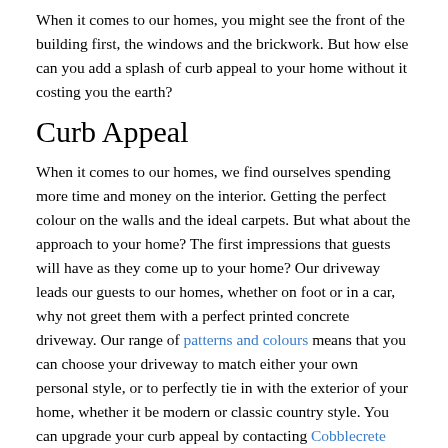When it comes to our homes, you might see the front of the building first, the windows and the brickwork. But how else can you add a splash of curb appeal to your home without it costing you the earth?
Curb Appeal
When it comes to our homes, we find ourselves spending more time and money on the interior. Getting the perfect colour on the walls and the ideal carpets. But what about the approach to your home? The first impressions that guests will have as they come up to your home? Our driveway leads our guests to our homes, whether on foot or in a car, why not greet them with a perfect printed concrete driveway. Our range of patterns and colours means that you can choose your driveway to match either your own personal style, or to perfectly tie in with the exterior of your home, whether it be modern or classic country style. You can upgrade your curb appeal by contacting Cobblecrete Wolverhampton today.
Firm Standing
In recent years more and more of us are investing in more expensive cars. This means that you need a good secure driveway to park your car